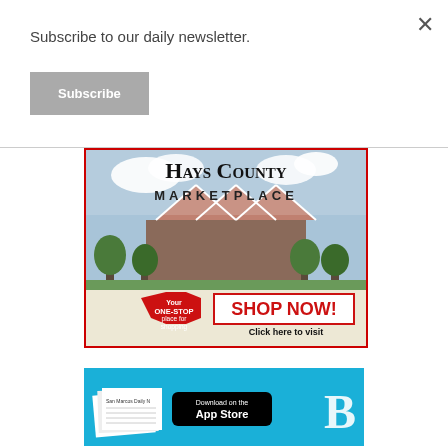Subscribe to our daily newsletter.
Subscribe
[Figure (advertisement): Hays County Marketplace ad with courthouse photo, red octagon 'Your ONE-STOP place for shopping', red text 'SHOP NOW!', and 'Click here to visit']
[Figure (advertisement): Blue banner ad for newspaper app with App Store download button and stylized B logo]